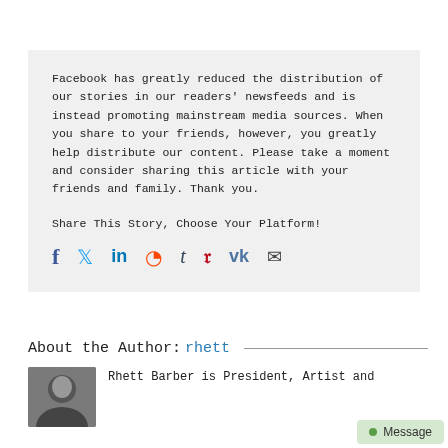Facebook has greatly reduced the distribution of our stories in our readers' newsfeeds and is instead promoting mainstream media sources. When you share to your friends, however, you greatly help distribute our content. Please take a moment and consider sharing this article with your friends and family. Thank you.
Share This Story, Choose Your Platform!
[Figure (infographic): Social sharing icons row: Facebook (f), Twitter (bird), LinkedIn (in), Reddit (alien), Tumblr (t), Pinterest (P), VK (VK), Email (envelope)]
About the Author: rhett
[Figure (photo): Author photo thumbnail, dark/face visible at bottom]
Rhett Barber is President, Artist and